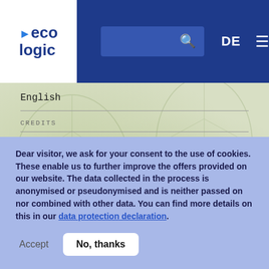eco logic | DE | Search | Menu
English
CREDITS
Concept: Karl Lehmann, Chiara Mazzetti
Design: Lena Aebli
Programming: Arif Jensen
FUNDING
European Commission, Research Executive Agency (REA)
PUBLISHED IN
Dear visitor, we ask for your consent to the use of cookies. These enable us to further improve the offers provided on our website. The data collected in the process is anonymised or pseudonymised and is neither passed on nor combined with other data. You can find more details on this in our data protection declaration.